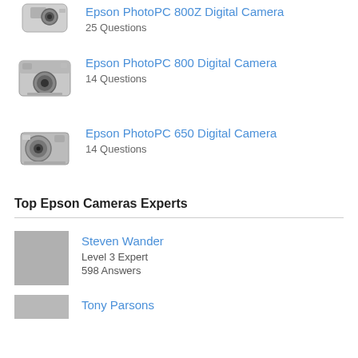Epson PhotoPC 800 Digital Camera — 14 Questions
Epson PhotoPC 650 Digital Camera — 14 Questions
Top Epson Cameras Experts
Steven Wander — Level 3 Expert — 598 Answers
Tony Parsons